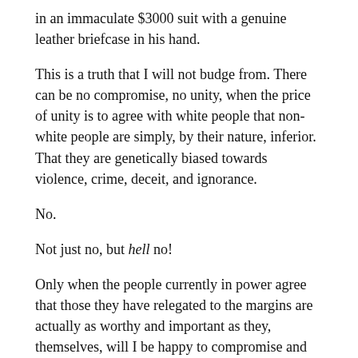in an immaculate $3000 suit with a genuine leather briefcase in his hand.
This is a truth that I will not budge from. There can be no compromise, no unity, when the price of unity is to agree with white people that non-white people are simply, by their nature, inferior. That they are genetically biased towards violence, crime, deceit, and ignorance.
No.
Not just no, but hell no!
Only when the people currently in power agree that those they have relegated to the margins are actually as worthy and important as they, themselves, will I be happy to compromise and work for unity. When the humanity of every single person on the planet is